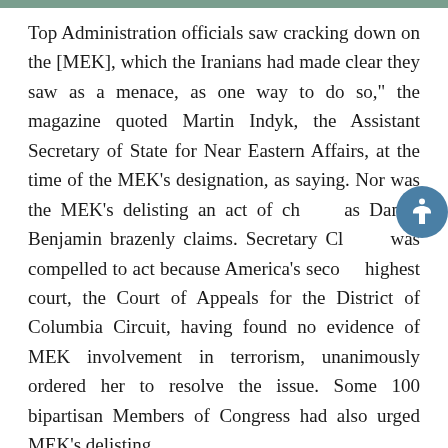Top Administration officials saw cracking down on the [MEK], which the Iranians had made clear they saw as a menace, as one way to do so," the magazine quoted Martin Indyk, the Assistant Secretary of State for Near Eastern Affairs, at the time of the MEK’s designation, as saying. Nor was the MEK’s delisting an act of charity as Daniel Benjamin brazenly claims. Secretary Clinton was compelled to act because America’s second-highest court, the Court of Appeals for the District of Columbia Circuit, having found no evidence of MEK involvement in terrorism, unanimously ordered her to resolve the issue. Some 100 bipartisan Members of Congress had also urged MEK’s delisting.
3. The MEK did not “support the takeover of the U.S. embassy” nor did it break “with Khomeini over his decision to release the American hostages.” The